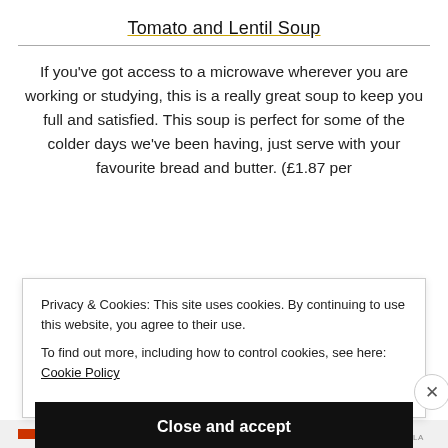Tomato and Lentil Soup
If you've got access to a microwave wherever you are working or studying, this is a really great soup to keep you full and satisfied. This soup is perfect for some of the colder days we've been having, just serve with your favourite bread and butter. (£1.87 per
Privacy & Cookies: This site uses cookies. By continuing to use this website, you agree to their use.
To find out more, including how to control cookies, see here: Cookie Policy
Close and accept